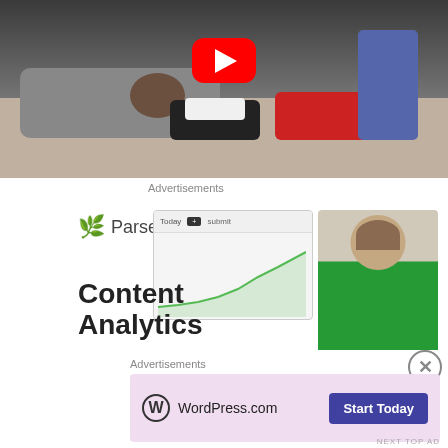[Figure (screenshot): YouTube video thumbnail showing a person lying on the floor next to toy police car and red truck, with another person standing nearby. Red YouTube play button overlay visible at top center.]
Advertisements
[Figure (screenshot): Parse.ly advertisement showing the Parse.ly logo with green leaf icon, a dashboard screenshot with a line chart, a smiling woman in green shirt, and text reading 'Content Analytics']
Advertisements
[Figure (screenshot): WordPress.com advertisement on pink/lavender background with WordPress logo and 'Start Today' button]